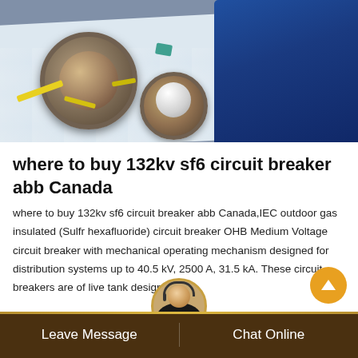[Figure (photo): Industrial worker in blue uniform working on large circular flanges/circuit breaker components on a white protective sheet, with yellow tools visible]
where to buy 132kv sf6 circuit breaker abb Canada
where to buy 132kv sf6 circuit breaker abb Canada,IEC outdoor gas insulated (Sulfr hexafluoride) circuit breaker OHB Medium Voltage circuit breaker with mechanical operating mechanism designed for distribution systems up to 40.5 kV, 2500 A, 31.5 kA. These circuit breakers are of live tank design.
Leave Message   Chat Online